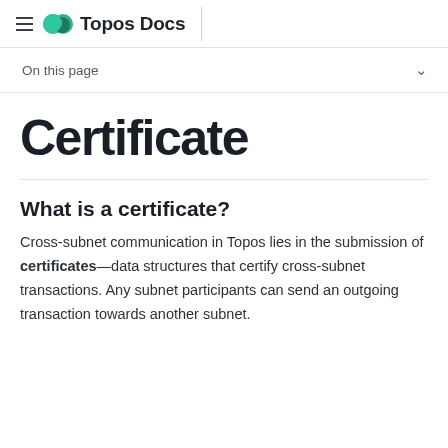Topos Docs
On this page
Certificate
What is a certificate?
Cross-subnet communication in Topos lies in the submission of certificates—data structures that certify cross-subnet transactions. Any subnet participants can send an outgoing transaction towards another subnet.